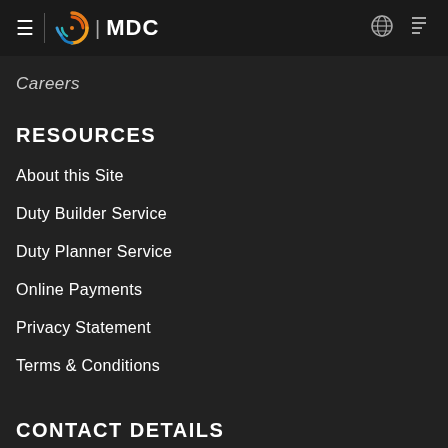MDC
Careers
RESOURCES
About this Site
Duty Builder Service
Duty Planner Service
Online Payments
Privacy Statement
Terms & Conditions
CONTACT DETAILS